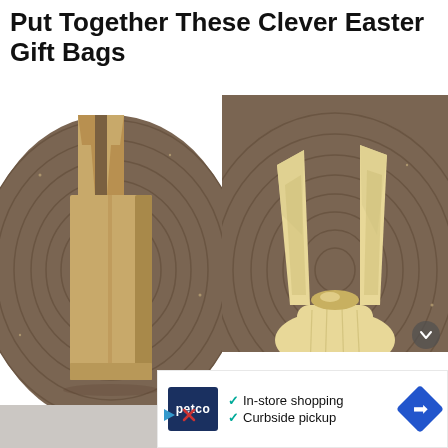Put Together These Clever Easter Gift Bags
[Figure (photo): Two-panel photo showing Easter gift bags made from paper bags. Left panel: flat kraft paper bag with cut bunny ear slits at the top, lying on a woven circular mat background. Right panel: the paper bag folded and shaped into a 3D bunny with upright ears, on the same woven mat.]
[Figure (screenshot): Advertisement overlay: Petco logo (dark blue square with 'petco' text) on the left, checkmarks listing 'In-store shopping' and 'Curbside pickup', and a blue diamond navigation arrow icon on the right. Below the ad are small play and close icons.]